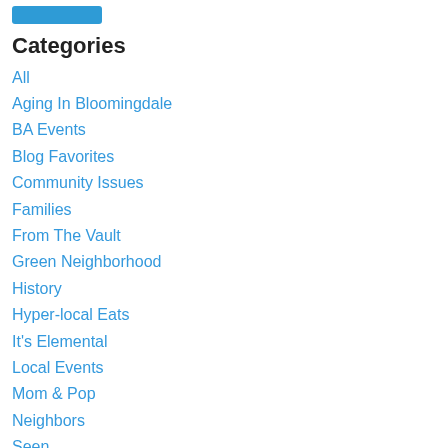[Figure (other): Blue button/rectangle at top]
Categories
All
Aging In Bloomingdale
BA Events
Blog Favorites
Community Issues
Families
From The Vault
Green Neighborhood
History
Hyper-local Eats
It's Elemental
Local Events
Mom & Pop
Neighbors
Seen
Throwback Thursday
Traffic
Archives